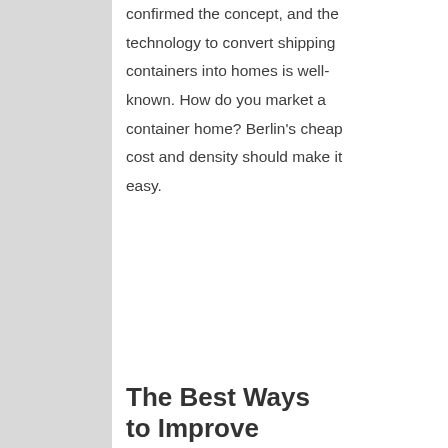confirmed the concept, and the technology to convert shipping containers into homes is well-known. How do you market a container home? Berlin's cheap cost and density should make it easy.
The Best Ways to Improve